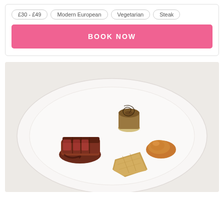£30 - £49
Modern European
Vegetarian
Steak
BOOK NOW
[Figure (photo): Elegantly plated fine dining dish on a white plate: sliced medium-rare meat on the left, a stuffed mushroom or tartlet with spiral decoration in the center-back, a piece of roasted potato or pastry in the center-front, a dollop of caramel/sauce on the right, and green garnish underneath the meat.]